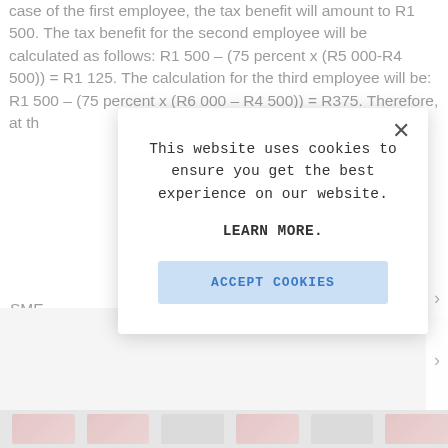case of the first employee, the tax benefit will amount to R1 500. The tax benefit for the second employee will be calculated as follows: R1 500 – (75 percent x (R5 000-R4 500)) = R1 125. The calculation for the third employee will be: R1 500 – (75 percent x (R6 000 – R4 500)) = R375. Therefore, at th SME liabi (R3
[Figure (screenshot): Cookie consent modal overlay with message 'This website uses cookies to ensure you get the best experience on our website.' and buttons 'LEARN MORE.' and 'ACCEPT COOKIES'. Close X button in top right corner. Modal appears over partially visible document text.]